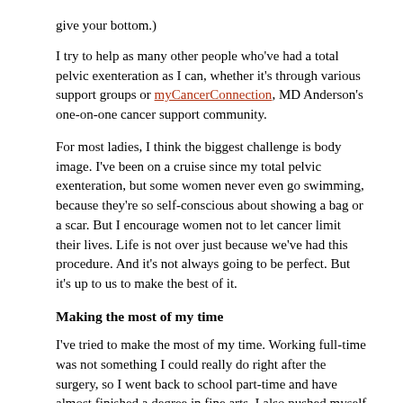give your bottom.)
I try to help as many other people who've had a total pelvic exenteration as I can, whether it's through various support groups or myCancerConnection, MD Anderson's one-on-one cancer support community.
For most ladies, I think the biggest challenge is body image. I've been on a cruise since my total pelvic exenteration, but some women never even go swimming, because they're so self-conscious about showing a bag or a scar. But I encourage women not to let cancer limit their lives. Life is not over just because we've had this procedure. And it's not always going to be perfect. But it's up to us to make the best of it.
Making the most of my time
I've tried to make the most of my time. Working full-time was not something I could really do right after the surgery, so I went back to school part-time and have almost finished a degree in fine arts. I also pushed myself to travel, served as an ostomy support group leader and have even volunteered as a park ranger in Yellowstone for the past five summers.
It's still challenging to walk and stand for long periods, and hiking takes me a lot longer than the average person.